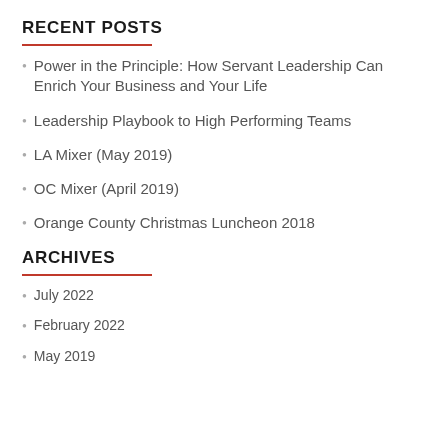RECENT POSTS
Power in the Principle: How Servant Leadership Can Enrich Your Business and Your Life
Leadership Playbook to High Performing Teams
LA Mixer (May 2019)
OC Mixer (April 2019)
Orange County Christmas Luncheon 2018
ARCHIVES
July 2022
February 2022
May 2019